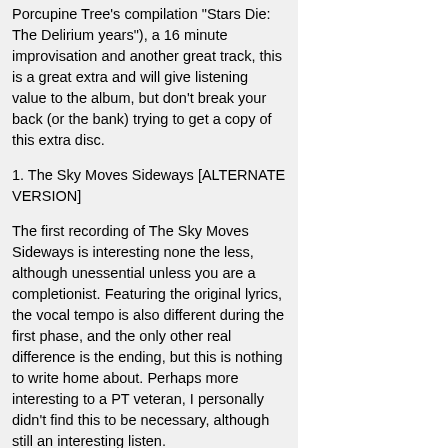Porcupine Tree's compilation "Stars Die: The Delirium years"), a 16 minute improvisation and another great track, this is a great extra and will give listening value to the album, but don't break your back (or the bank) trying to get a copy of this extra disc.
1. The Sky Moves Sideways [ALTERNATE VERSION]
The first recording of The Sky Moves Sideways is interesting none the less, although unessential unless you are a completionist. Featuring the original lyrics, the vocal tempo is also different during the first phase, and the only other real difference is the ending, but this is nothing to write home about. Perhaps more interesting to a PT veteran, I personally didn't find this to be necessary, although still an interesting listen.
4 out of 5.